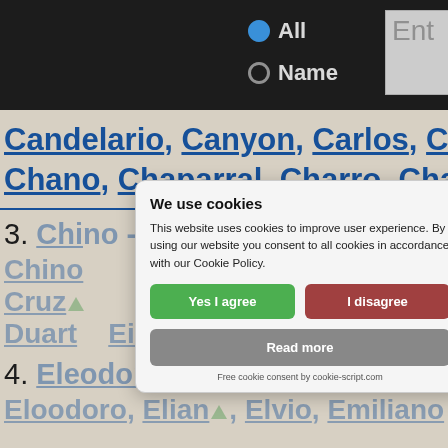All | Name | Ent
Candelario, Canyon, Carlos, Cassa, Chano, Chaparral, Charro, Chayo,
3. Chino - Eldorado
Chino, ... Consu
Cruz ... Damian, Dante
Duarte ... Eladio, El...
4. Eleodoro - Honesto
Eloodoro, Elian, Elvio, Emiliano
We use cookies
This website uses cookies to improve user experience. By using our website you consent to all cookies in accordance with our Cookie Policy.
Yes I agree | I disagree
Read more
Free cookie consent by cookie-script.com